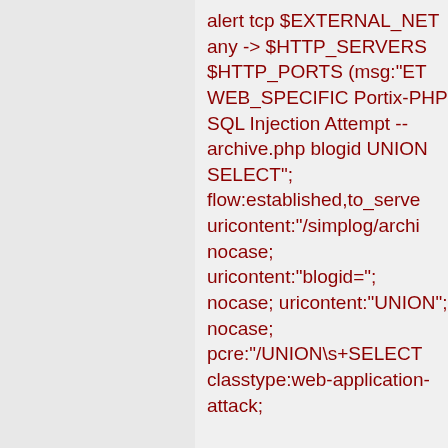alert tcp $EXTERNAL_NET any -> $HTTP_SERVERS $HTTP_PORTS (msg:"ET WEB_SPECIFIC Portix-PHP SQL Injection Attempt -- archive.php blogid UNION SELECT"; flow:established,to_server; uricontent:"/simplog/archi... nocase; uricontent:"blogid="; nocase; uricontent:"UNION"; nocase; pcre:"/UNION\s+SELECT... classtype:web-application-attack;